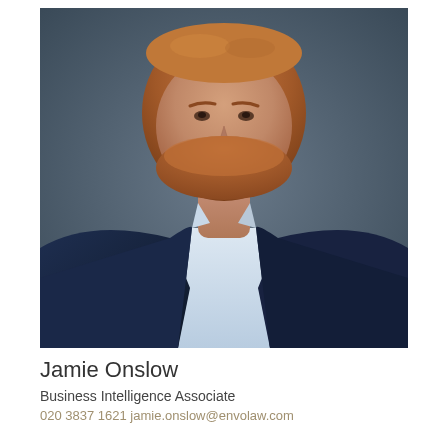[Figure (photo): Professional headshot of a young man with red/auburn hair and beard, wearing a navy blue suit jacket with a light blue open-collar shirt, photographed against a dark grey background.]
Jamie Onslow
Business Intelligence Associate
020 3837 1621 jamie.onslow@envolaw.com